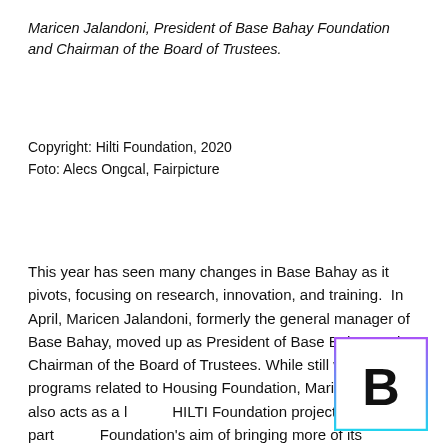Maricen Jalandoni, President of Base Bahay Foundation and Chairman of the Board of Trustees.
Copyright: Hilti Foundation, 2020
Foto: Alecs Ongcal, Fairpicture
This year has seen many changes in Base Bahay as it pivots, focusing on research, innovation, and training.  In April, Maricen Jalandoni, formerly the general manager of Base Bahay, moved up as President of Base Bahay and Chairman of the Board of Trustees. While still working on programs related to Housing Foundation, Maricen now also acts as a link for HILTI Foundation projects in Asia as part of the Foundation's aim of bringing more of its projects to the region, through Base.
[Figure (logo): Letter B logo mark with gradient purple-to-cyan border in a square box]